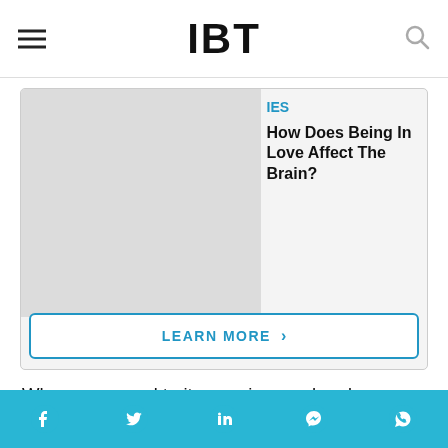IBT
[Figure (other): IBT website article page showing a promo box with article link 'How Does Being In Love Affect The Brain?' with IES label and a Learn More button]
When compared to its opening weekend business, Sye Raa Narasimha Reddy witnessed over 85 percent drop in its collection in the second week. The reduced screen count, shows, ticket price and the number of days were a reason for this decline. But its collection
Social share icons: Facebook, Twitter, LinkedIn, Messenger, WhatsApp